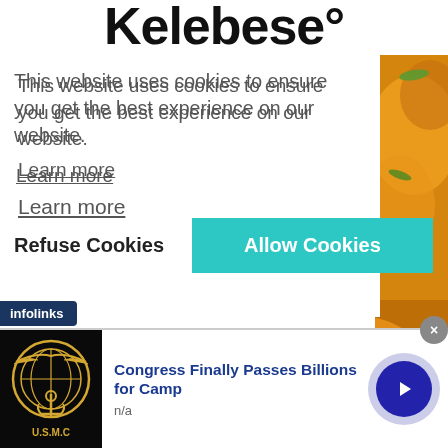Kelebese°
This website uses cookies to ensure you get the best experience on our website.
Learn more
Refuse Cookies
Allow Cookies
[Figure (photo): Close-up photo of cooked food with orange/golden pieces and green onion garnish]
infolinks
Congress Finally Passes Billions for Camp
n/a